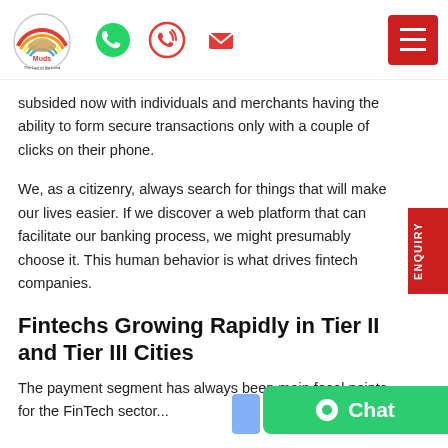[Figure (logo): Muds law firm logo - circular rainbow arc with dish icon and text 'Muds The Law of the Land']
subsided now with individuals and merchants having the ability to form secure transactions only with a couple of clicks on their phone.
We, as a citizenry, always search for things that will make our lives easier. If we discover a web platform that can facilitate our banking process, we might presumably choose it. This human behavior is what drives fintech companies.
Fintechs Growing Rapidly in Tier II and Tier III Cities
The payment segment has always been main focal points for the FinTech sector...